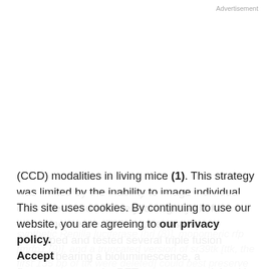Advertisement
(CCD) modalities in living mice (1). This strategy was limited by the inability to image individual cells due to the relatively low light yield from bioluminescence. In the current study, we developed and tested several triple fusion vectors bearing a bioluminescence, a fluorescence, and a PET reporter gene joined by a 14-aa-long and an 8-aa-long spacer, respectively. Among all of the vectors tested, hrl-mrfp-ttk triple fusion reporter vector containing a
synthetic Renilla luciferase [hrl (8)], monomeric rfp [mrfp1 (9)], and a truncated version of sr39tk [ttk, the first 135 bp of ttk were deleted] could best preserve the activities of all three component proteins and was therefore pursued
This site uses cookies. By continuing to use our website, you are agreeing to our privacy policy.
Accept